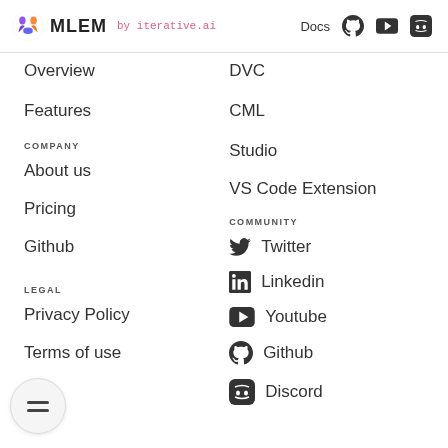MLEM by iterative.ai | Docs | GitHub | YouTube | Discord
Overview
Features
COMPANY
About us
Pricing
Github
LEGAL
Privacy Policy
Terms of use
DVC
CML
Studio
VS Code Extension
COMMUNITY
Twitter
Linkedin
Youtube
Github
Discord